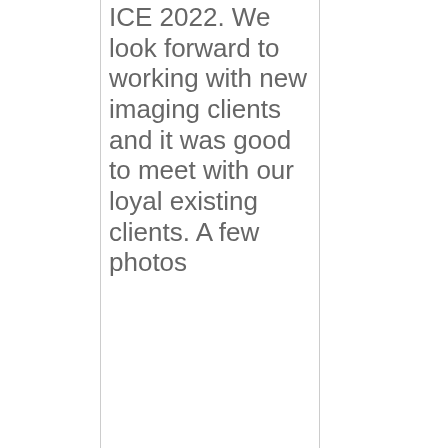ICE 2022. We look forward to working with new imaging clients and it was good to meet with our loyal existing clients. A few photos